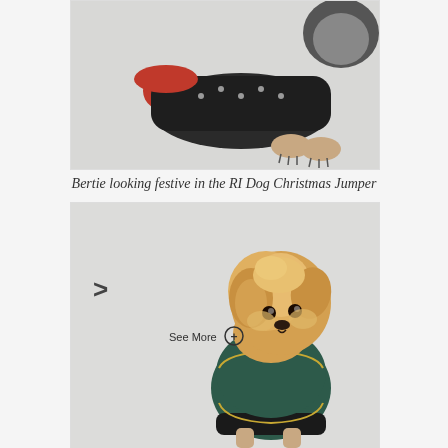[Figure (photo): A dog lying down wearing a dark knit Christmas jumper with red trim, photographed against a light grey background. The dog's paws are visible in the foreground.]
Bertie looking festive in the RI Dog Christmas Jumper
[Figure (photo): A small fluffy golden/cream coloured dog sitting upright wearing a dark green and black dog jacket/coat, photographed against a light grey background. A right-arrow navigation button and 'See More' button are visible overlaid on the image.]